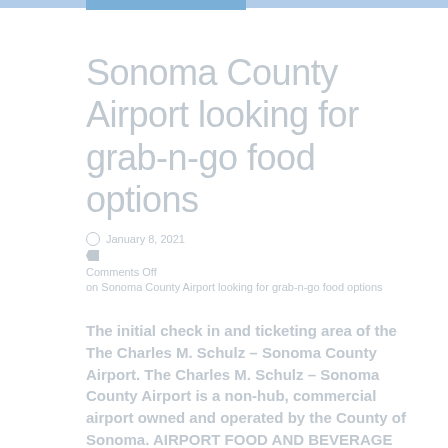Sonoma County Airport looking for grab-n-go food options
January 8, 2021
Comments Off on Sonoma County Airport looking for grab-n-go food options
The initial check in and ticketing area of the The Charles M. Schulz – Sonoma County Airport. The Charles M. Schulz – Sonoma County Airport is a non-hub, commercial airport owned and operated by the County of Sonoma. AIRPORT FOOD AND BEVERAGE SERVICE KIOSK – GATE 2 AT THE